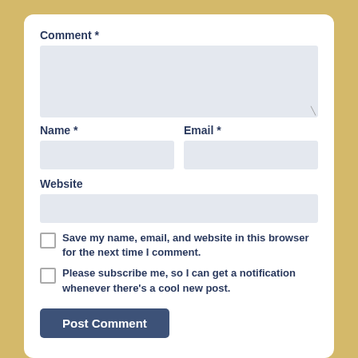Comment *
[Figure (screenshot): Large comment textarea input field with resize handle]
Name *
Email *
[Figure (screenshot): Name text input field]
[Figure (screenshot): Email text input field]
Website
[Figure (screenshot): Website URL text input field]
Save my name, email, and website in this browser for the next time I comment.
Please subscribe me, so I can get a notification whenever there's a cool new post.
Post Comment